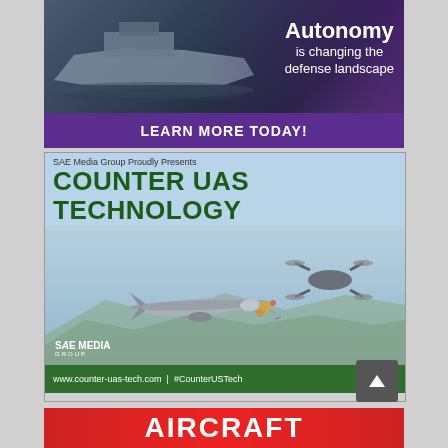[Figure (illustration): Advertisement banner showing autonomous naval vessel at sea with dark ocean background and purple overlay. Text: 'Autonomy is changing the defense landscape' with 'LEARN MORE TODAY!' button in purple banner.]
[Figure (illustration): SAE Media Group advertisement for Counter UAS Technology conference. Shows 'SAE Media Group Proudly Presents', 'COUNTER UAS TECHNOLOGY', '5 - 6 December 2022 | Arlington, USA'. Image of two drone aircraft in aerial combat over mountainous landscape. SAE Media Group logo. Footer: 'www.counter-uas-tech.com | #CounterUSTech']
[Figure (illustration): Partial advertisement showing 'AIRCRAFT' text in white on red background, partially cut off at bottom of page.]